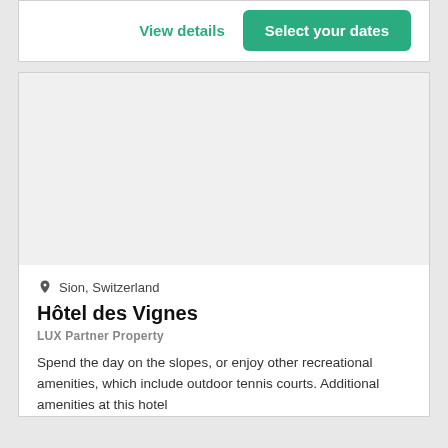View details
Select your dates
[Figure (photo): Hotel image area — white/light gray placeholder for hotel photo]
Sion, Switzerland
Hôtel des Vignes
LUX Partner Property
Spend the day on the slopes, or enjoy other recreational amenities, which include outdoor tennis courts. Additional amenities at this hotel